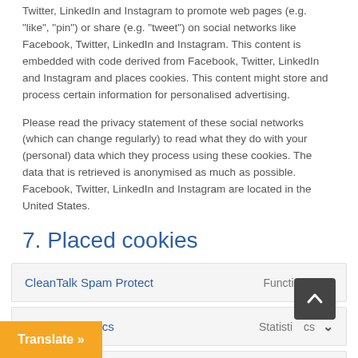Twitter, LinkedIn and Instagram to promote web pages (e.g. “like”, “pin”) or share (e.g. “tweet”) on social networks like Facebook, Twitter, LinkedIn and Instagram. This content is embedded with code derived from Facebook, Twitter, LinkedIn and Instagram and places cookies. This content might store and process certain information for personalised advertising.
Please read the privacy statement of these social networks (which can change regularly) to read what they do with your (personal) data which they process using these cookies. The data that is retrieved is anonymised as much as possible. Facebook, Twitter, LinkedIn and Instagram are located in the United States.
7. Placed cookies
| Name | Type |
| --- | --- |
| CleanTalk Spam Protect | Functional |
| Google Analytics | Statistics |
|  | Marketing/Tracking |